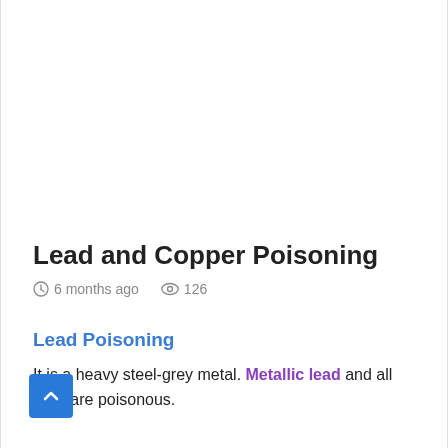Lead and Copper Poisoning
6 months ago   126
Lead Poisoning
It is a heavy steel-grey metal. Metallic lead and all salts are poisonous.